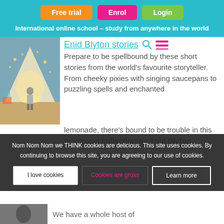Free trial  Enrol  Login
International online school - study from anywhere in the world
Enid Blyton stories
Prepare to be spellbound by these short stories from the world's favourite storyteller. From cheeky pixies with singing saucepans to puzzling spells and enchanted lemonade, there's bound to be trouble in this bewitching collection by Enid Blyton.
[Figure (photo): Child standing in front of a glowing tent at night]
Nom Nom Nom we THINK cookies are delicious. This site uses cookies. By continuing to browse this site, you are agreeing to our use of cookies.
I love cookies    Cookies are gross    Learn more
We have a whole host of